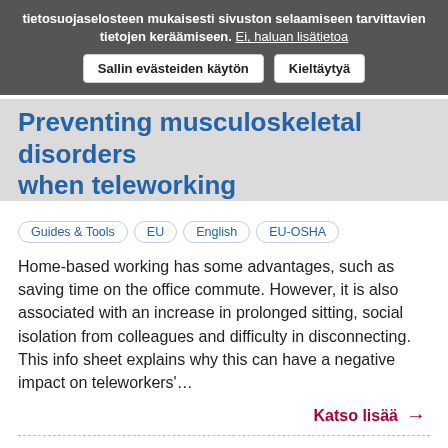tietosuojaselosteen mukaisesti sivuston selaamiseen tarvittavien tietojen keräämiseen. Ei, haluan lisätietoa
Sallin evästeiden käytön  Kieltäytyä
Preventing musculoskeletal disorders when teleworking
Guides & Tools  EU  English  EU-OSHA
Home-based working has some advantages, such as saving time on the office commute. However, it is also associated with an increase in prolonged sitting, social isolation from colleagues and difficulty in disconnecting. This info sheet explains why this can have a negative impact on teleworkers'...
Katso lisää →
Musculoskeletal disorders related to